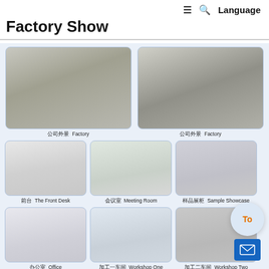≡  🔍  Language
Factory Show
[Figure (photo): Exterior of factory building with Chinese characters on the facade]
公司外景  Factory
[Figure (photo): Another exterior view of the factory building with a car parked outside]
公司外景  Factory
[Figure (photo): Front desk reception area of the company office]
前台  The Front Desk
[Figure (photo): Meeting room with conference table and chairs]
会议室  Meeting Room
[Figure (photo): Sample showcase with display shelves of products]
样品展柜  Sample Showcase
[Figure (photo): Office workspace with desks and partitions]
办公室  Office
[Figure (photo): Workshop One with workers and equipment]
加工一车间  Workshop One
[Figure (photo): Workshop Two with workers and machinery]
加工二车间  Workshop Two